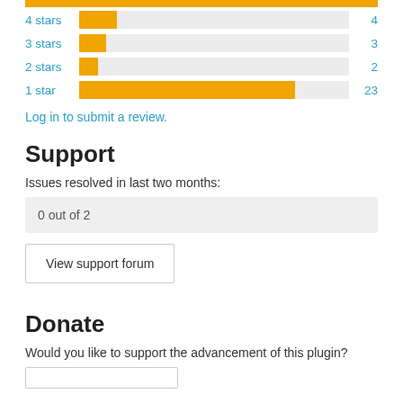[Figure (bar-chart): Star ratings]
Log in to submit a review.
Support
Issues resolved in last two months:
0 out of 2
View support forum
Donate
Would you like to support the advancement of this plugin?